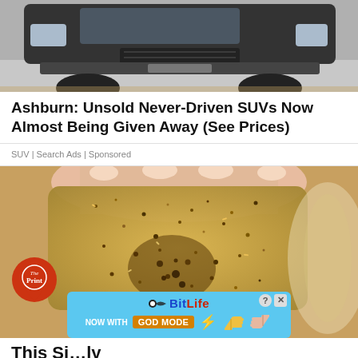[Figure (photo): Top portion of a car — front grille and bumper area of a dark SUV, partial view]
Ashburn: Unsold Never-Driven SUVs Now Almost Being Given Away (See Prices)
SUV | Search Ads | Sponsored
[Figure (photo): Close-up of a hand with long nails holding a translucent glittery/resin item with gold/brown speckles. The Print logo overlay visible at bottom left. BitLife 'NOW WITH GOD MODE' advertisement banner overlay at bottom center.]
This Si... ly